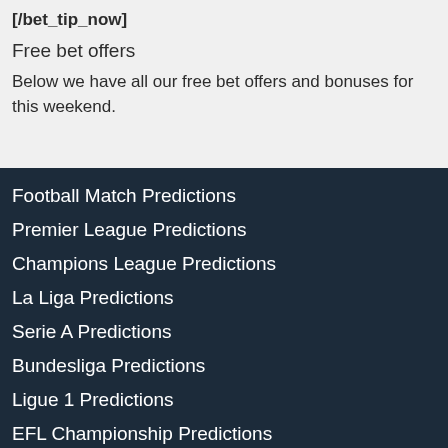[/bet_tip_now]
Free bet offers
Below we have all our free bet offers and bonuses for this weekend.
Football Match Predictions
Premier League Predictions
Champions League Predictions
La Liga Predictions
Serie A Predictions
Bundesliga Predictions
Ligue 1 Predictions
EFL Championship Predictions